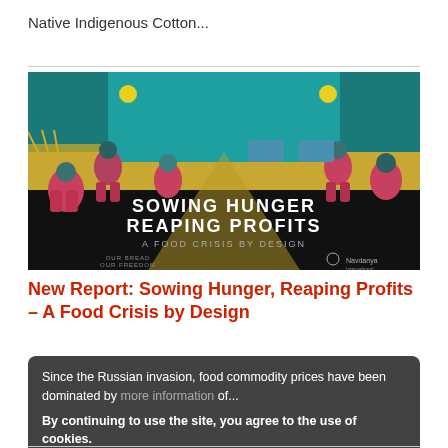Native Indigenous Cotton...
[Figure (illustration): Illustrated book cover showing farm workers harvesting in a field with stylized crops and machinery. Title text reads: SOWING HUNGER REAPING PROFITS / A FOOD CRISIS BY DESIGN. Subtitle: OUR BREAD OUR FREEDOM CAMPAIGN. Logo: Navdanya International.]
New Report: Sowing Hunger, Reaping Profits – A Food Crisis by Design
Since the Russian invasion, food commodity prices have been dominated by ...of...
By continuing to use the site, you agree to the use of cookies.
more information
Accept